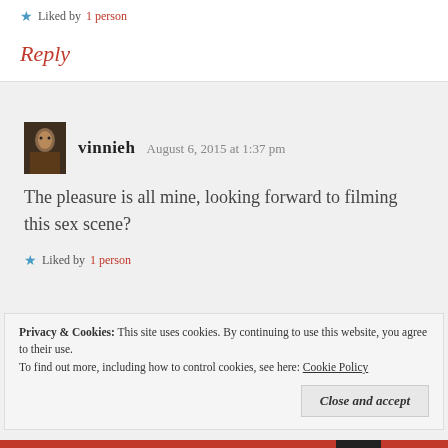★ Liked by 1 person
Reply
vinnieh  August 6, 2015 at 1:37 pm
The pleasure is all mine, looking forward to filming this sex scene?
★ Liked by 1 person
Privacy & Cookies: This site uses cookies. By continuing to use this website, you agree to their use. To find out more, including how to control cookies, see here: Cookie Policy
Close and accept